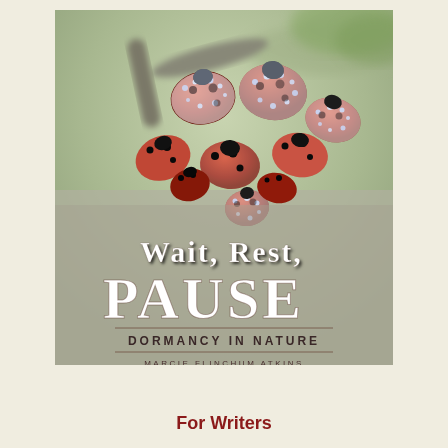[Figure (photo): Book cover image showing a cluster of ladybirds/ladybugs covered in frost or ice crystals, clumped together on a branch. The insects are red with black spots and are heavily coated in white crystalline frost. Background is blurred green foliage. Over the lower half of the image, text reads: Wait, Rest, PAUSE / DORMANCY IN NATURE / MARCIE FLINCHUM ATKINS]
For Writers